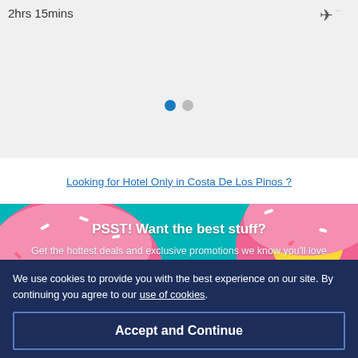2hrs 15mins
[Figure (illustration): Airplane icon in the top right corner]
[Figure (other): Carousel pagination dots: one blue active dot and one grey inactive dot]
Looking for Hotel Only in Costa De Los Pinos ?
[Figure (photo): Pink glazed donut float on teal/cyan background promotional section]
PSST! Want the best stuff?
Get the hottest deals and exclusive promotions we know you'll love
Email
We use cookies to provide you with the best experience on our site. By continuing you agree to our use of cookies.
Accept and Continue